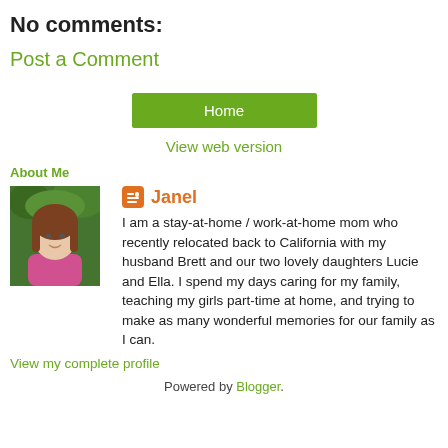No comments:
Post a Comment
Home
View web version
About Me
[Figure (photo): Profile photo of Janel, a woman with long brown hair wearing a pink top, photographed outdoors with green foliage in the background.]
Janel
I am a stay-at-home / work-at-home mom who recently relocated back to California with my husband Brett and our two lovely daughters Lucie and Ella. I spend my days caring for my family, teaching my girls part-time at home, and trying to make as many wonderful memories for our family as I can.
View my complete profile
Powered by Blogger.